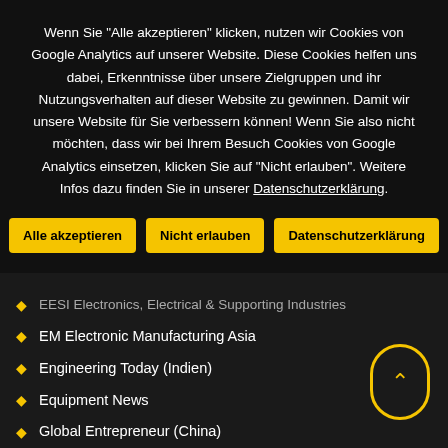Wenn Sie "Alle akzeptieren" klicken, nutzen wir Cookies von Google Analytics auf unserer Website. Diese Cookies helfen uns dabei, Erkenntnisse über unsere Zielgruppen und ihr Nutzungsverhalten auf dieser Website zu gewinnen. Damit wir unsere Website für Sie verbessern können! Wenn Sie also nicht möchten, dass wir bei Ihrem Besuch Cookies von Google Analytics einsetzen, klicken Sie auf "Nicht erlauben". Weitere Infos dazu finden Sie in unserer Datenschutzerklärung.
Alle akzeptieren
Nicht erlauben
Datenschutzerklärung
EESI Electronics, Electrical & Supporting Industries
EM Electronic Manufacturing Asia
Engineering Today (Indien)
Equipment News
Global Entrepreneur (China)
Global Metalworking China
Gulf Marketing Review
Higher Education Press (China)